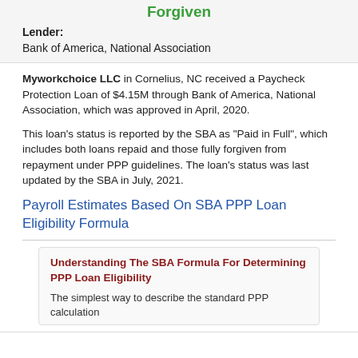Forgiven
Lender:
Bank of America, National Association
Myworkchoice LLC in Cornelius, NC received a Paycheck Protection Loan of $4.15M through Bank of America, National Association, which was approved in April, 2020.
This loan's status is reported by the SBA as "Paid in Full", which includes both loans repaid and those fully forgiven from repayment under PPP guidelines. The loan's status was last updated by the SBA in July, 2021.
Payroll Estimates Based On SBA PPP Loan Eligibility Formula
Understanding The SBA Formula For Determining PPP Loan Eligibility
The simplest way to describe the standard PPP calculation